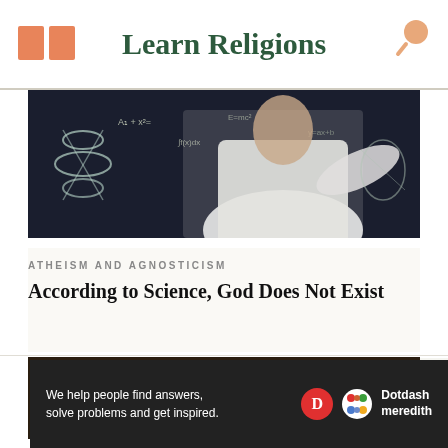Learn Religions
[Figure (photo): Person in white shirt writing scientific equations and DNA diagrams on a blackboard]
ATHEISM AND AGNOSTICISM
According to Science, God Does Not Exist
[Figure (photo): Dark sepia-toned aerial or close-up view of rocks and water or geological formations]
We help people find answers, solve problems and get inspired. Dotdash meredith